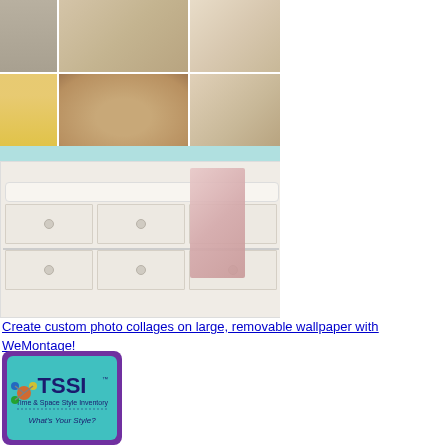[Figure (photo): Photo collage of baby photos and a man in yellow shirt arranged in a grid, followed by image of a white baby dresser/changing table with a light pink towel draped over it, set against a light teal wall]
Create custom photo collages on large, removable wallpaper with WeMontage!
[Figure (logo): TSSI - Time & Space Style Inventory logo with hexagon shape, teal background, colorful molecule/atom icon, text 'What's Your Style?']